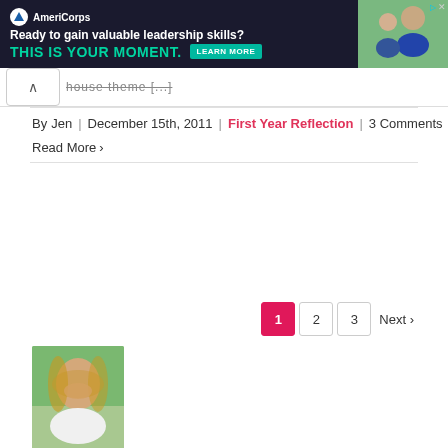[Figure (screenshot): AmeriCorps advertisement banner: 'Ready to gain valuable leadership skills? THIS IS YOUR MOMENT.' with LEARN MORE button and photo of students]
house theme [...]
By Jen | December 15th, 2011 | First Year Reflection | 3 Comments
Read More >
1  2  3  Next >
[Figure (photo): Portrait photo of a young woman with long blonde hair wearing a white turtleneck sweater, outdoors with greenery in background]